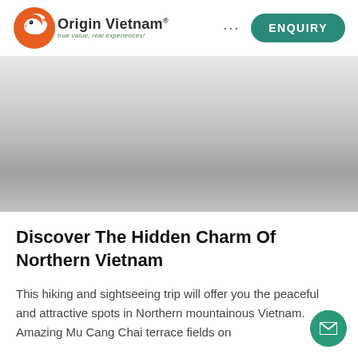[Figure (logo): Origin Vietnam logo with orange bird icon and green tagline 'true value, real experiences!']
[Figure (photo): Hero banner image showing a misty mountainous landscape in Northern Vietnam, rendered as grey gradient placeholder]
Discover The Hidden Charm Of Northern Vietnam
This hiking and sightseeing trip will offer you the peaceful and attractive spots in Northern mountainous Vietnam. Amazing Mu Cang Chai terrace fields on